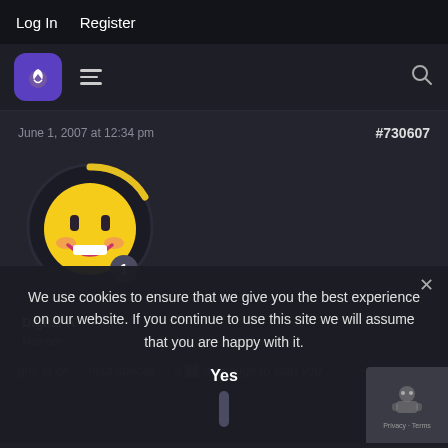Log In  Register
[Figure (logo): Purple rounded square logo with flame/plant icon, hamburger menu icon, and search icon]
June 1, 2007 at 12:34 pm
#730607
[Figure (illustration): Yellow smiley face avatar with dark circular border and gold arc, level badge showing '1']
Digital-A
We use cookies to ensure that we give you the best experience on our website. If you continue to use this site we will assume that you are happy with it.
Yes
ghb ia ok … nout special … a … ul is enough to start you
[Figure (other): reCAPTCHA badge with robot icon and Privacy · Terms text]